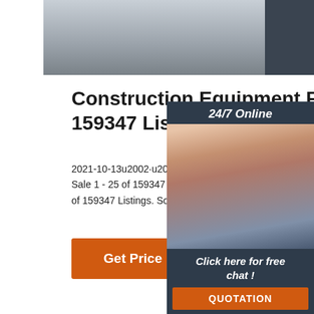[Figure (photo): Partial photo of furniture/equipment in a room, cropped at top of page]
Construction Equipment For S... 159347 Listings ...
2021-10-13u2002·u2002Construction Equipment For Sale 1 - 25 of 159347 Listings. High/Low/Aver... of 159347 Listings. Sort By: ...
[Figure (photo): 24/7 Online chat widget with a woman wearing a headset smiling, with a 'Click here for free chat!' message and a QUOTATION button]
Get Price
QUOTATION